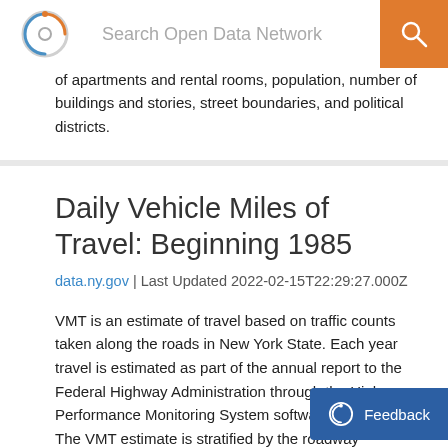Search Open Data Network
of apartments and rental rooms, population, number of buildings and stories, street boundaries, and political districts.
Daily Vehicle Miles of Travel: Beginning 1985
data.ny.gov | Last Updated 2022-02-15T22:29:27.000Z
VMT is an estimate of travel based on traffic counts taken along the roads in New York State. Each year travel is estimated as part of the annual report to the Federal Highway Administration through the Highway Performance Monitoring System software application. The VMT estimate is stratified by the roadway Functional Classification of Principal Arterials, Minor Arterials, and Local Roads & Street. The VMT